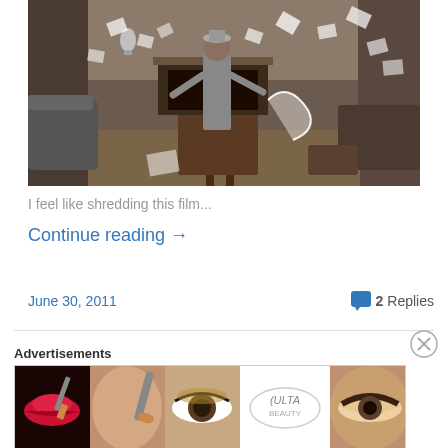[Figure (photo): A man in a suit standing in a chaotic room with papers and debris flying around]
I feel like shredding this film...
Continue reading →
June 30, 2011
2 Replies
Advertisements
[Figure (illustration): Advertisement banner for ULTA Beauty showing cosmetic/makeup imagery with lips, brushes, eyes, ULTA logo, and SHOP NOW text]